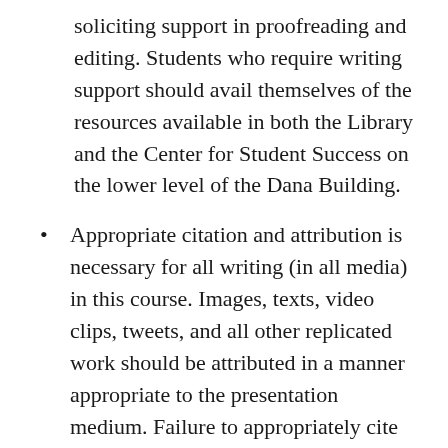soliciting support in proofreading and editing. Students who require writing support should avail themselves of the resources available in both the Library and the Center for Student Success on the lower level of the Dana Building.
Appropriate citation and attribution is necessary for all writing (in all media) in this course. Images, texts, video clips, tweets, and all other replicated work should be attributed in a manner appropriate to the presentation medium. Failure to appropriately cite sources is considered